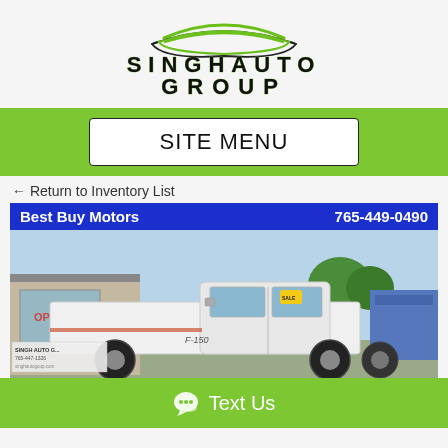[Figure (logo): Singh Auto Group logo with green swoosh car silhouette above text 'SINGH AUTO GROUP' in bold black letters with green outline]
SITE MENU
← Return to Inventory List
Best Buy Motors    765-449-0490
[Figure (photo): White Ford F-150 extended cab pickup truck parked in front of a car dealership with an OPEN sign visible in the window and trees in the background. Singh Auto Group signage visible.]
Text Us